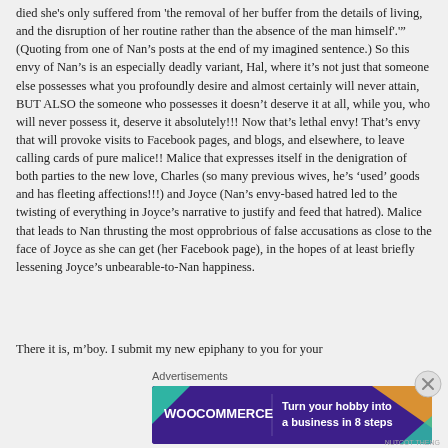died she's only suffered from 'the removal of her buffer from the details of living, and the disruption of her routine rather than the absence of the man himself'.'" (Quoting from one of Nan's posts at the end of my imagined sentence.) So this envy of Nan's is an especially deadly variant, Hal, where it's not just that someone else possesses what you profoundly desire and almost certainly will never attain, BUT ALSO the someone who possesses it doesn't deserve it at all, while you, who will never possess it, deserve it absolutely!!! Now that's lethal envy! That's envy that will provoke visits to Facebook pages, and blogs, and elsewhere, to leave calling cards of pure malice!! Malice that expresses itself in the denigration of both parties to the new love, Charles (so many previous wives, he's 'used' goods and has fleeting affections!!!) and Joyce (Nan's envy-based hatred led to the twisting of everything in Joyce's narrative to justify and feed that hatred). Malice that leads to Nan thrusting the most opprobrious of false accusations as close to the face of Joyce as she can get (her Facebook page), in the hopes of at least briefly lessening Joyce's unbearable-to-Nan happiness.
There it is, m'boy. I submit my new epiphany to you for your
Advertisements
[Figure (infographic): WooCommerce advertisement banner: dark purple background with teal and orange geometric shapes, WooCommerce logo on left, text 'Turn your hobby into a business in 8 steps' on right]